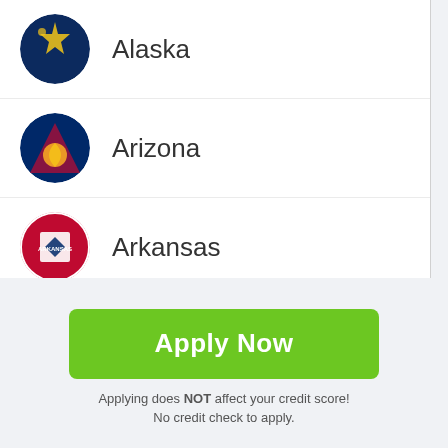Alaska
Arizona
Arkansas
California
Colorado
Connecticut
[Figure (illustration): Green 'Apply Now' button]
Applying does NOT affect your credit score!
No credit check to apply.